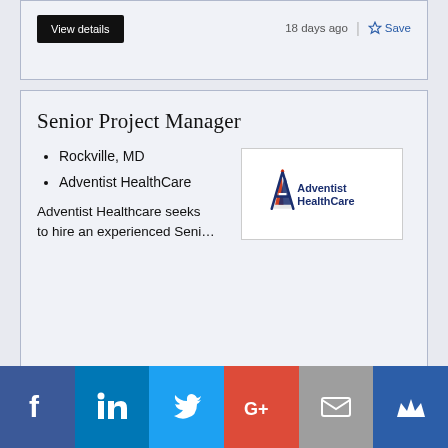[Figure (screenshot): Partial job listing card at top with View details button and '18 days ago | Save' text]
Senior Project Manager
Rockville, MD
Adventist HealthCare
Adventist Healthcare seeks to hire an experienced Seni…
[Figure (logo): Adventist HealthCare logo with stylized A and flame icon]
View details
18 days ago
Save
Senior Deltek Costpoint IT Leader
[Figure (infographic): Social share bar with Facebook, LinkedIn, Twitter, Google+, Email, and Mightybell icons]